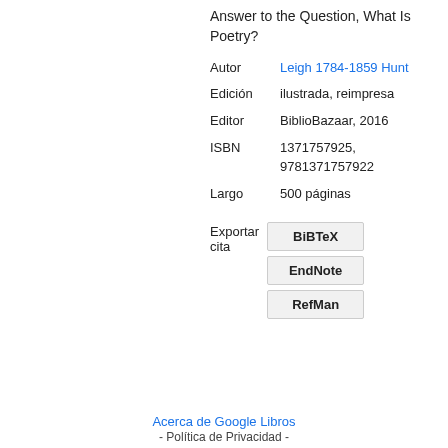Answer to the Question, What Is Poetry?
| Field | Value |
| --- | --- |
| Autor | Leigh 1784-1859 Hunt |
| Edición | ilustrada, reimpresa |
| Editor | BiblioBazaar, 2016 |
| ISBN | 1371757925, 9781371757922 |
| Largo | 500 páginas |
Exportar cita
BiBTeX
EndNote
RefMan
Acerca de Google Libros - Política de Privacidad -